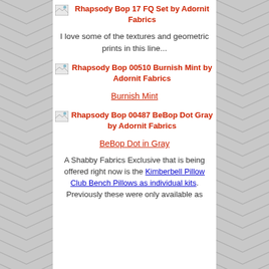[Figure (other): Broken image placeholder for Rhapsody Bop 17 FQ Set by Adornit Fabrics]
Rhapsody Bop 17 FQ Set by Adornit Fabrics
I love some of the textures and geometric prints in this line...
[Figure (other): Broken image placeholder for Rhapsody Bop 00510 Burnish Mint by Adornit Fabrics]
Rhapsody Bop 00510 Burnish Mint by Adornit Fabrics
Burnish Mint
[Figure (other): Broken image placeholder for Rhapsody Bop 00487 BeBop Dot Gray by Adornit Fabrics]
Rhapsody Bop 00487 BeBop Dot Gray by Adornit Fabrics
BeBop Dot in Gray
A Shabby Fabrics Exclusive that is being offered right now is the Kimberbell Pillow Club Bench Pillows as individual kits. Previously these were only available as